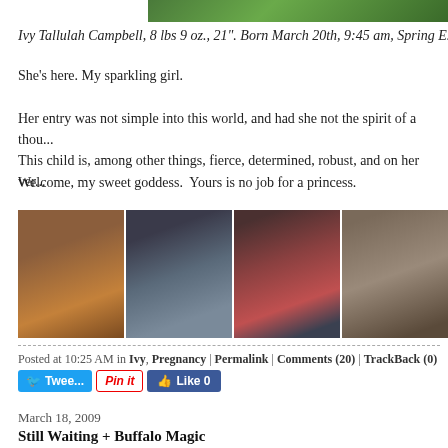[Figure (photo): Top portion of a green/nature background photo, cropped at top of page]
Ivy Tallulah Campbell, 8 lbs 9 oz., 21". Born March 20th, 9:45 am, Spring E...
She's here. My sparkling girl.
Her entry was not simple into this world, and had she not the spirit of a thou...
This child is, among other things, fierce, determined, robust, and on her ver...
Welcome, my sweet goddess.  Yours is no job for a princess.
[Figure (photo): Strip of four birth/family photos: close-up skin tones, couple in tub with newborn, child with newborn and mother, man kissing newborn]
Posted at 10:25 AM in Ivy, Pregnancy | Permalink | Comments (20) | TrackBack (0)
[Figure (other): Social sharing buttons: Tweet, Pin it, Like 0]
March 18, 2009
Still Waiting + Buffalo Magic
I thought it would be really cool if our babe was born on St. Paddy's Day (o... Spring Equinox), but clearly, that was not her magical day of entrance...so...